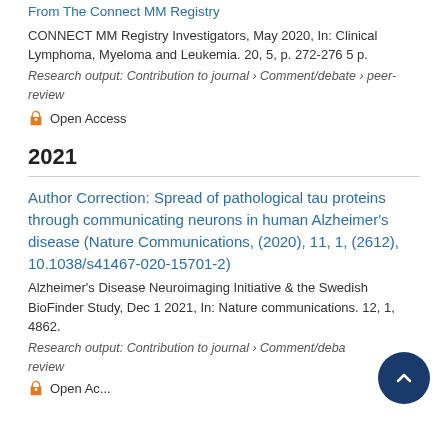From The Connect MM Registry
CONNECT MM Registry Investigators, May 2020, In: Clinical Lymphoma, Myeloma and Leukemia. 20, 5, p. 272-276 5 p.
Research output: Contribution to journal › Comment/debate › peer-review
Open Access
2021
Author Correction: Spread of pathological tau proteins through communicating neurons in human Alzheimer's disease (Nature Communications, (2020), 11, 1, (2612), 10.1038/s41467-020-15701-2)
Alzheimer's Disease Neuroimaging Initiative & the Swedish BioFinder Study, Dec 1 2021, In: Nature communications. 12, 1, 4862.
Research output: Contribution to journal › Comment/debate › peer-review
Open Access